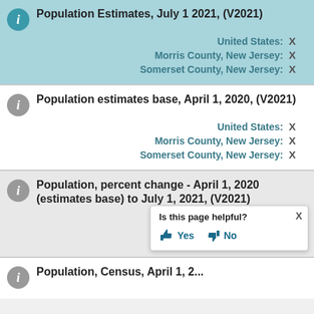Population Estimates, July 1 2021, (V2021)
| Location | Value |
| --- | --- |
| United States: | X |
| Morris County, New Jersey: | X |
| Somerset County, New Jersey: | X |
Population estimates base, April 1, 2020, (V2021)
| Location | Value |
| --- | --- |
| United States: | X |
| Morris County, New Jersey: | X |
| Somerset County, New Jersey: | X |
Population, percent change - April 1, 2020 (estimates base) to July 1, 2021, (V2021)
| Location | Value |
| --- | --- |
| United States: | X |
| Morris County, New Jersey: | X |
| Somerset County, New Jersey: | X |
Population, Census, April 1, 2...
Is this page helpful? Yes No